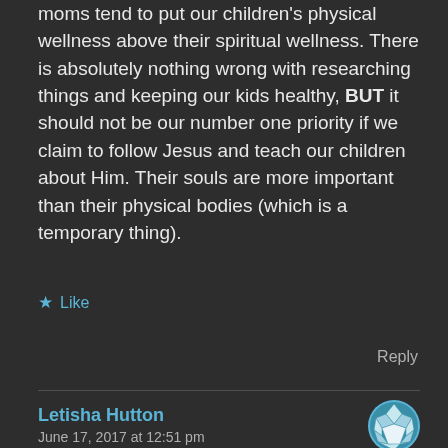moms tend to put our children's physical wellness above their spiritual wellness. There is absolutely nothing wrong with researching things and keeping our kids healthy, BUT it should not be our number one priority if we claim to follow Jesus and teach our children about Him. Their souls are more important than their physical bodies (which is a temporary thing).
★ Like
Reply
Letisha Hutton
June 17, 2017 at 12:51 pm
Exactly, and those that are saying she is insensitive to